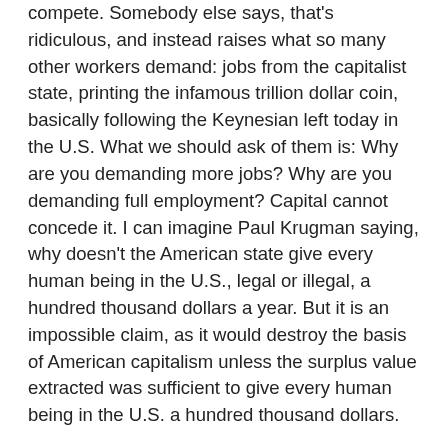compete. Somebody else says, that's ridiculous, and instead raises what so many other workers demand: jobs from the capitalist state, printing the infamous trillion dollar coin, basically following the Keynesian left today in the U.S. What we should ask of them is: Why are you demanding more jobs? Why are you demanding full employment? Capital cannot concede it. I can imagine Paul Krugman saying, why doesn't the American state give every human being in the U.S., legal or illegal, a hundred thousand dollars a year. But it is an impossible claim, as it would destroy the basis of American capitalism unless the surplus value extracted was sufficient to give every human being in the U.S. a hundred thousand dollars.
I think it is quite realistic to abolish labor. Therefore I say, we reach out to the